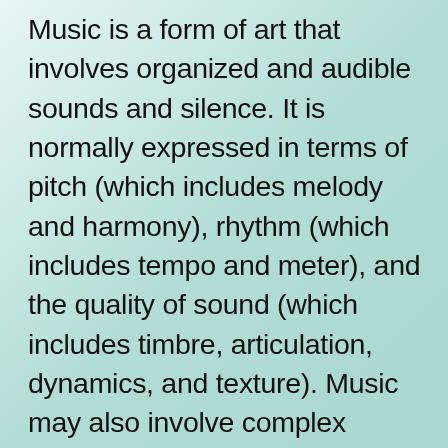Music is a form of art that involves organized and audible sounds and silence. It is normally expressed in terms of pitch (which includes melody and harmony), rhythm (which includes tempo and meter), and the quality of sound (which includes timbre, articulation, dynamics, and texture). Music may also involve complex generative forms in time through the construction of patterns and combinations of natural stimuli, principally sound. Music may be used for artistic or aesthetic, communicative, entertainment, or ceremonial purposes. The definition of what constitutes